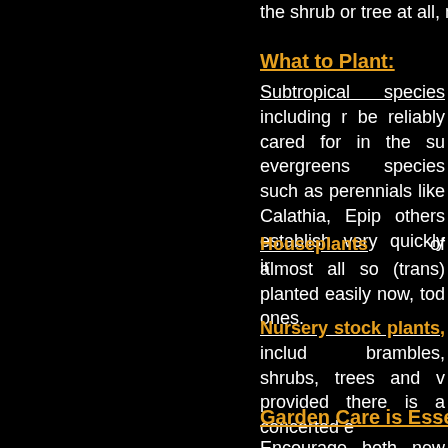the shrub or tree at all, many t
What to Plant:
Subtropical species including r be reliably cared for in the su evergreens species such as perennials like Calathia, Epip others establish very quickly ir
Houseplants of almost all so (trans) planted easily now, tod ones.
Nursery stock plants, includ brambles, shrubs, trees and v provided there is a concerted e
Garden Care is Essential:
Encourage both new and esta remains warm. At planting tim and/or windy, watering will alm required especially around the
It is permissible to liquid feed fertilizer salts coming into con feeding about a week after pla